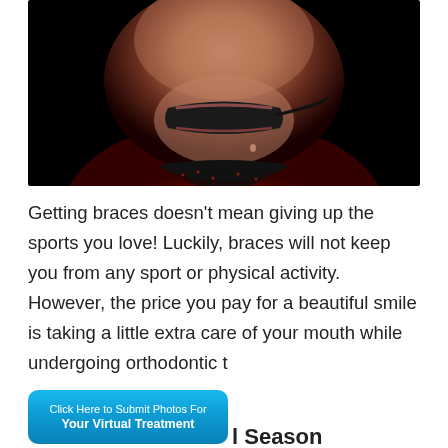[Figure (photo): Close-up photo of a young athlete wearing a black sports mouth guard, dressed in a red jersey, photographed against a dark background.]
Getting braces doesn't mean giving up the sports you love! Luckily, braces will not keep you from any sport or physical activity. However, the price you pay for a beautiful smile is taking a little extra care of your mouth while undergoing orthodontic t
[Figure (other): Blue rounded button overlay reading 'Click Here to Submit Photos For Your Virtual Treatment']